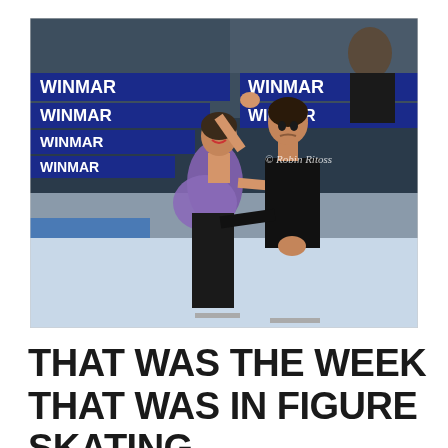[Figure (photo): Two figure skaters performing on ice. A woman in a purple and black costume with one arm raised and a man in a black outfit hold hands while skating. WINMAR sponsor boards visible in background. Watermark: © Robin Ritoss]
THAT WAS THE WEEK THAT WAS IN FIGURE SKATING